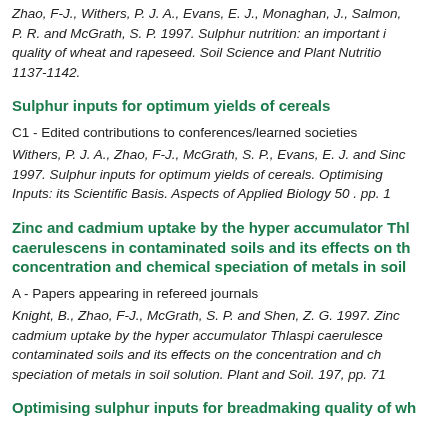Zhao, F-J., Withers, P. J. A., Evans, E. J., Monaghan, J., Salmon, P. R. and McGrath, S. P. 1997. Sulphur nutrition: an important influence on the quality of wheat and rapeseed. Soil Science and Plant Nutrition. 43, pp. 1137-1142.
Sulphur inputs for optimum yields of cereals
C1 - Edited contributions to conferences/learned societies
Withers, P. J. A., Zhao, F-J., McGrath, S. P., Evans, E. J. and Sinc... 1997. Sulphur inputs for optimum yields of cereals. Optimising... Inputs: its Scientific Basis. Aspects of Applied Biology 50 . pp. 1...
Zinc and cadmium uptake by the hyper accumulator Thlaspi caerulescens in contaminated soils and its effects on the concentration and chemical speciation of metals in soil...
A - Papers appearing in refereed journals
Knight, B., Zhao, F-J., McGrath, S. P. and Shen, Z. G. 1997. Zinc and cadmium uptake by the hyper accumulator Thlaspi caerulescens in contaminated soils and its effects on the concentration and chemical speciation of metals in soil solution. Plant and Soil. 197, pp. 71...
Optimising sulphur inputs for breadmaking quality of wh...